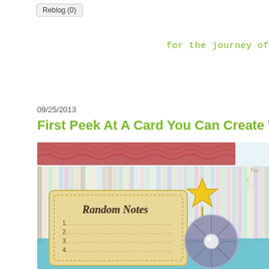Reblog (0)
for the journey of
09/25/2013
First Peek At A Card You Can Create With The
[Figure (photo): Close-up photo of a handmade craft card featuring colorful striped paper background with red netting/mesh trim at top, a tan notecard reading 'Random Notes' with numbered lines 1-4, a gold star pushpin, and a gray fabric rosette/yo-yo flower with a pearl center on a teal background.]